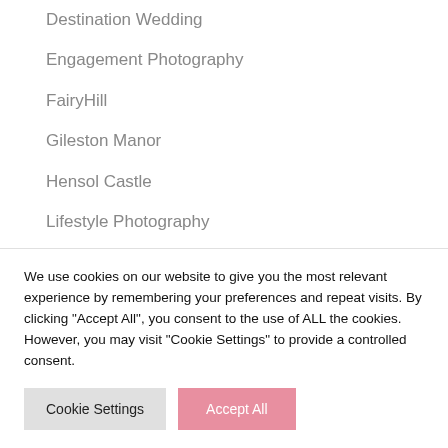Destination Wedding
Engagement Photography
FairyHill
Gileston Manor
Hensol Castle
Lifestyle Photography
Llanerch Vineyard
Merthyr Mawr Sand Dunes
We use cookies on our website to give you the most relevant experience by remembering your preferences and repeat visits. By clicking "Accept All", you consent to the use of ALL the cookies. However, you may visit "Cookie Settings" to provide a controlled consent.
Cookie Settings | Accept All